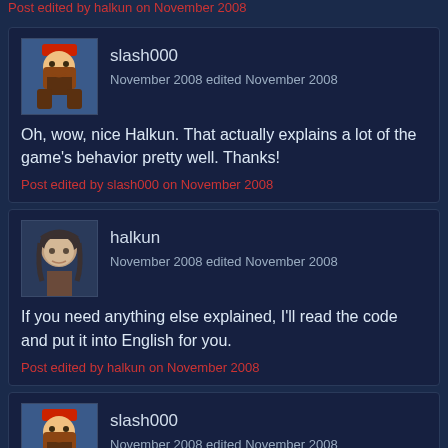Post edited by halkun on November 2008
slash000
November 2008 edited November 2008
Oh, wow, nice Halkun. That actually explains a lot of the game's behavior pretty well. Thanks!
Post edited by slash000 on November 2008
halkun
November 2008 edited November 2008
If you need anything else explained, I'll read the code and put it into English for you.
Post edited by halkun on November 2008
slash000
November 2008 edited November 2008